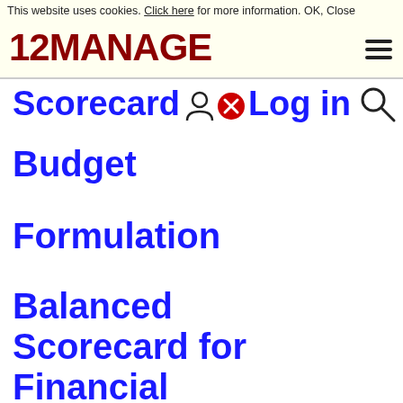This website uses cookies. Click here for more information. OK, Close
[Figure (logo): 12MANAGE logo in dark red bold text]
Scorecard  Log in
Budget
Formulation
Balanced Scorecard for Financial